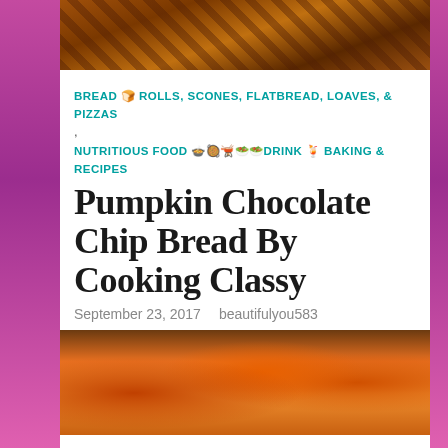[Figure (photo): Close-up photo of pumpkin chocolate chip bread loaf, sliced, showing dense golden-brown crumb with chocolate chips]
BREAD 🍞 ROLLS, SCONES, FLATBREAD, LOAVES, & PIZZAS
,
NUTRITIOUS FOOD 🍲🥘🫕🥗🥗DRINK 🍹 BAKING & RECIPES
Pumpkin Chocolate Chip Bread By Cooking Classy
September 23, 2017   beautifulyou583
[Figure (photo): Close-up photo of orange and green pumpkins on dark background]